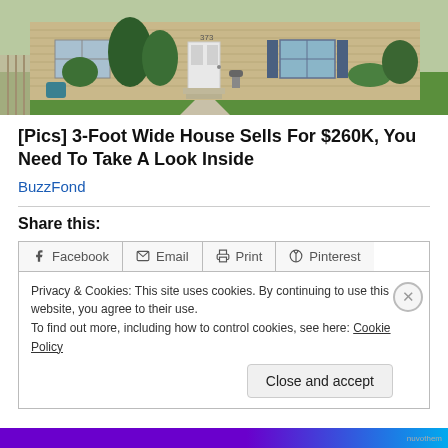[Figure (photo): Exterior photo of a suburban house with beige siding, white front door, evergreen trees, and green lawn]
[Pics] 3-Foot Wide House Sells For $260K, You Need To Take A Look Inside
BuzzFond
Share this:
Facebook  Email  Print  Pinterest
Privacy & Cookies: This site uses cookies. By continuing to use this website, you agree to their use.
To find out more, including how to control cookies, see here: Cookie Policy
Close and accept